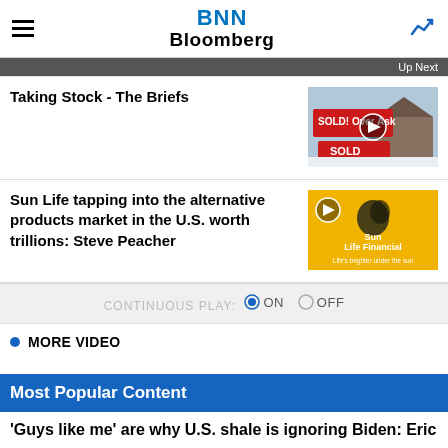BNN Bloomberg
Up Next
Taking Stock - The Briefs
[Figure (photo): Real estate sold sign reading SOLD! Over Ask and SOLD in red against snowy background]
Sun Life tapping into the alternative products market in the U.S. worth trillions: Steve Peacher
[Figure (photo): Sun Life Financial logo on yellow background with text Life's brighter under the sun]
CONTINUOUS PLAY: ON OFF
MORE VIDEO
Most Popular Content
'Guys like me' are why U.S. shale is ignoring Biden: Eric